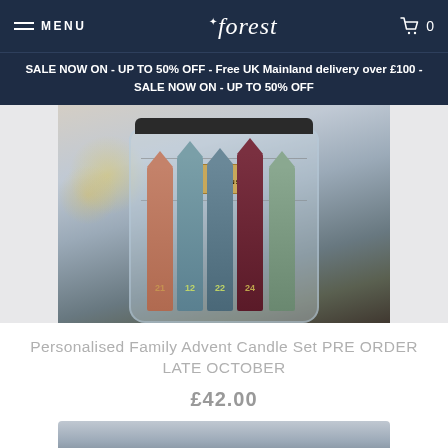MENU | forest | 0
SALE NOW ON - UP TO 50% OFF - Free UK Mainland delivery over £100 - SALE NOW ON - UP TO 50% OFF
[Figure (photo): Photo of a personalised family advent candle set in a glass jar. Multiple coloured candles (teal, green, burgundy, brown) are visible with numbers 21, 12, 22, 24 on them. A gold label reads 'THE BROWNS'.]
Personalised Family Advent Candle Set PRE ORDER LATE OCTOBER
£42.00
[Figure (photo): Partial bottom photo of another product]